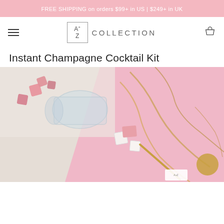FREE SHIPPING on orders $99+ in US | $249+ in UK
[Figure (logo): A+Z Collection logo with hamburger menu and cart icon navigation bar]
Instant Champagne Cocktail Kit
[Figure (photo): Product photo showing champagne cocktail kit contents spilled from a glass jar onto a pink marble surface with gold accents, including pink sugar cubes and white cube items]